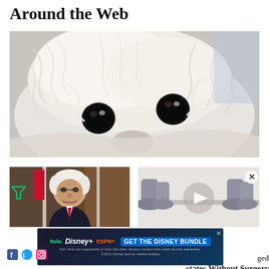Around the Web
[Figure (photo): Close-up photo of a fluffy white dog (likely a Maltese or Bichon Frise) with big dark eyes looking at the camera]
[Figure (photo): Photo of an older white-haired man (President Biden) seated in front of American flags and a brown door]
[Figure (illustration): Cartoon illustration showing animated legs/feet characters with a circular play button overlay and a close X button]
[Figure (screenshot): Disney Bundle advertisement banner showing Hulu, Disney+, and ESPN+ logos with 'GET THE DISNEY BUNDLE' call to action and fine print about 2021 Disney]
ged states without Surgery